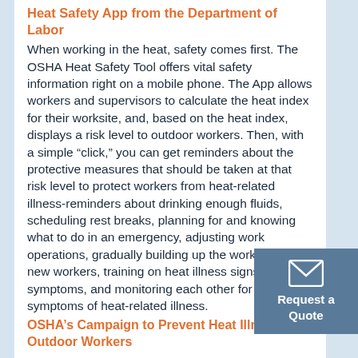Heat Safety App from the Department of Labor
When working in the heat, safety comes first. The OSHA Heat Safety Tool offers vital safety information right on a mobile phone. The App allows workers and supervisors to calculate the heat index for their worksite, and, based on the heat index, displays a risk level to outdoor workers. Then, with a simple “click,” you can get reminders about the protective measures that should be taken at that risk level to protect workers from heat-related illness-reminders about drinking enough fluids, scheduling rest breaks, planning for and knowing what to do in an emergency, adjusting work operations, gradually building up the workload for new workers, training on heat illness signs and symptoms, and monitoring each other for signs and symptoms of heat-related illness.
OSHA’s Campaign to Prevent Heat Illness in Outdoor Workers
[Figure (other): Request a Quote button with envelope icon on steel blue background]